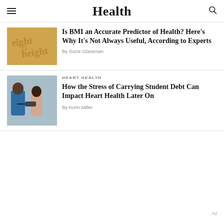Health
[Figure (photo): Close-up of a BMI measurement chart with the word 'height' printed in golden/tan tones]
Is BMI an Accurate Predictor of Health? Here's Why It's Not Always Useful, According to Experts
By Suzie Glassman
HEART HEALTH
[Figure (photo): A healthcare professional in blue scrubs measuring the blood pressure of a young patient in a clinical setting]
How the Stress of Carrying Student Debt Can Impact Heart Health Later On
By Korin Miller
Ad